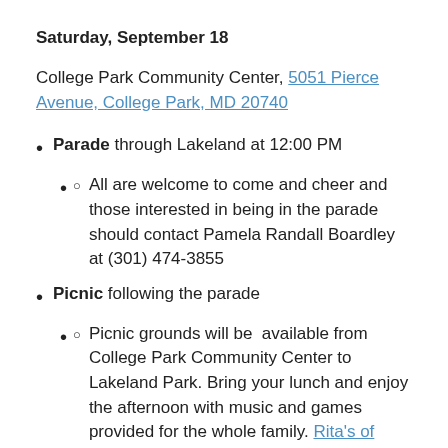Saturday, September 18
College Park Community Center, 5051 Pierce Avenue, College Park, MD 20740
Parade through Lakeland at 12:00 PM
All are welcome to come and cheer and those interested in being in the parade should contact Pamela Randall Boardley at (301) 474-3855
Picnic following the parade
Picnic grounds will be available from College Park Community Center to Lakeland Park. Bring your lunch and enjoy the afternoon with music and games provided for the whole family. Rita's of College Park will visit with free Italian ices!